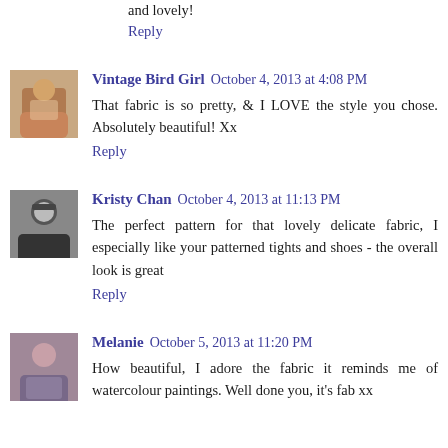and lovely!
Reply
[Figure (photo): Avatar photo of Vintage Bird Girl]
Vintage Bird Girl  October 4, 2013 at 4:08 PM
That fabric is so pretty, & I LOVE the style you chose. Absolutely beautiful! Xx
Reply
[Figure (photo): Avatar photo of Kristy Chan]
Kristy Chan  October 4, 2013 at 11:13 PM
The perfect pattern for that lovely delicate fabric, I especially like your patterned tights and shoes - the overall look is great
Reply
[Figure (photo): Avatar photo of Melanie]
Melanie  October 5, 2013 at 11:20 PM
How beautiful, I adore the fabric it reminds me of watercolour paintings. Well done you, it's fab xx